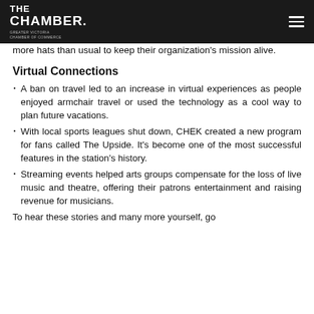THE CHAMBER. GREATER VICTORIA CHAMBER OF COMMERCE
more hats than usual to keep their organization's mission alive.
Virtual Connections
A ban on travel led to an increase in virtual experiences as people enjoyed armchair travel or used the technology as a cool way to plan future vacations.
With local sports leagues shut down, CHEK created a new program for fans called The Upside. It's become one of the most successful features in the station's history.
Streaming events helped arts groups compensate for the loss of live music and theatre, offering their patrons entertainment and raising revenue for musicians.
To hear these stories and many more yourself, go